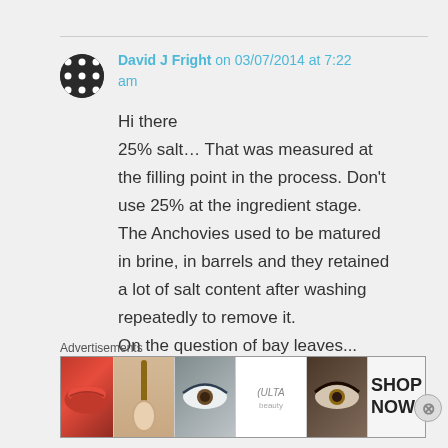David J Fright on 03/07/2014 at 7:22 am
Hi there
25% salt… That was measured at the filling point in the process. Don't use 25% at the ingredient stage. The Anchovies used to be matured in brine, in barrels and they retained a lot of salt content after washing repeatedly to remove it.
On the question of bay leaves...
Advertisements
[Figure (photo): Advertisements banner showing beauty/makeup product images (lips with red lipstick, makeup brush, eyes with mascara, ULTA beauty logo, eyes with makeup) and a SHOP NOW button on white background]